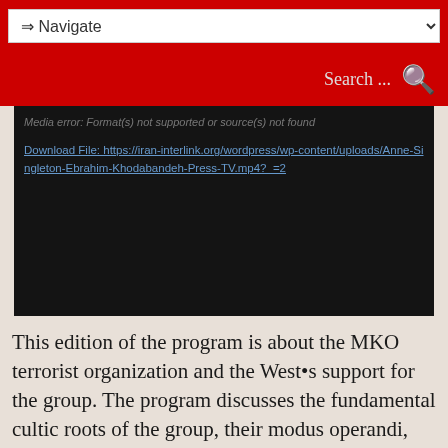⇒ Navigate
Search ...
[Figure (screenshot): A video player showing a media error message: 'Media error: Format(s) not supported or source(s) not found' with a download link to https://iran-interlink.org/wordpress/wp-content/uploads/Anne-Singleton-Ebrahim-Khodabandeh-Press-TV.mp4?_=2]
This edition of the program is about the MKO terrorist organization and the Wests support for the group. The program discusses the fundamental cultic roots of the group, their modus operandi, dynamics, western support for them, and their current status in Albania.